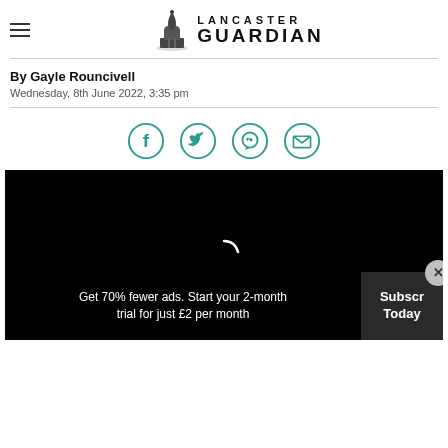Lancaster Guardian
By Gayle Rouncivell
Wednesday, 8th June 2022, 3:35 pm
[Figure (infographic): Social share icons: Facebook, Twitter, WhatsApp, Email — teal circle outline buttons]
[Figure (screenshot): Black video player area with white spinning loader arc]
Get 70% fewer ads. Start your 2-month trial for just £2 per month
Subscribe Today